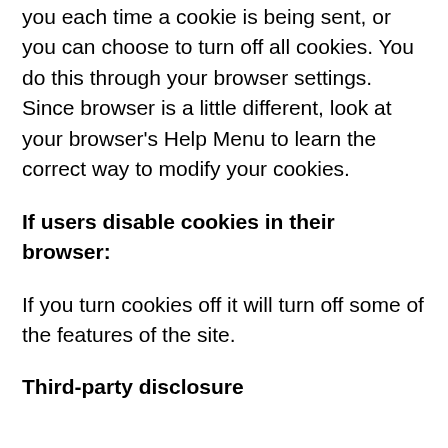you each time a cookie is being sent, or you can choose to turn off all cookies. You do this through your browser settings. Since browser is a little different, look at your browser's Help Menu to learn the correct way to modify your cookies.
If users disable cookies in their browser:
If you turn cookies off it will turn off some of the features of the site.
Third-party disclosure